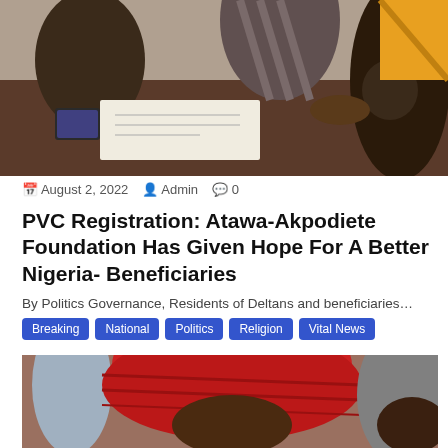[Figure (photo): People at a registration desk, one person signing documents while others look on, including a child]
August 2, 2022   Admin   0
PVC Registration: Atawa-Akpodiete Foundation Has Given Hope For A Better Nigeria- Beneficiaries
By Politics Governance, Residents of Deltans and beneficiaries…
Breaking
National
Politics
Religion
Vital News
[Figure (photo): Close-up of a person wearing a red cap/hat, with another person visible in the background]